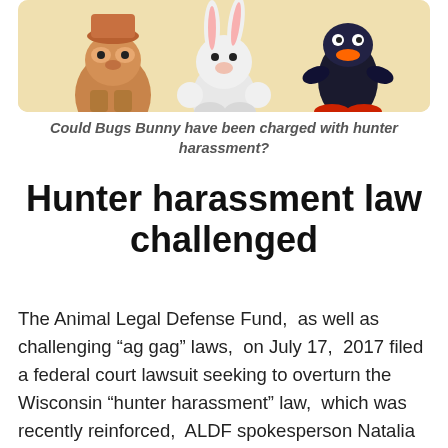[Figure (illustration): Cartoon illustration showing Bugs Bunny character in the center with other cartoon animal characters on either side, against a cream/yellow background with rounded corners.]
Could Bugs Bunny have been charged with hunter harassment?
Hunter harassment law challenged
The Animal Legal Defense Fund,  as well as challenging “ag gag” laws,  on July 17,  2017 filed a federal court lawsuit seeking to overturn the Wisconsin “hunter harassment” law,  which was recently reinforced,  ALDF spokesperson Natalia Lima said,  to prohibit “photographing, videotaping,  approaching or even ‘maintaining a visual or physical proximity’ to a hunter.”